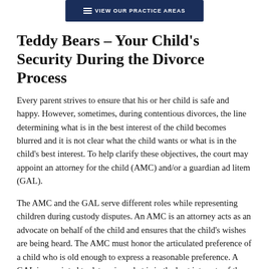VIEW OUR PRACTICE AREAS
Teddy Bears – Your Child's Security During the Divorce Process
Every parent strives to ensure that his or her child is safe and happy. However, sometimes, during contentious divorces, the line determining what is in the best interest of the child becomes blurred and it is not clear what the child wants or what is in the child's best interest. To help clarify these objectives, the court may appoint an attorney for the child (AMC) and/or a guardian ad litem (GAL).
The AMC and the GAL serve different roles while representing children during custody disputes. An AMC is an attorney acts as an advocate on behalf of the child and ensures that the child's wishes are being heard. The AMC must honor the articulated preference of a child who is old enough to express a reasonable preference. A GAL is appointed to determine what is in the best interests of the child, and makes his or her findings known through reports to